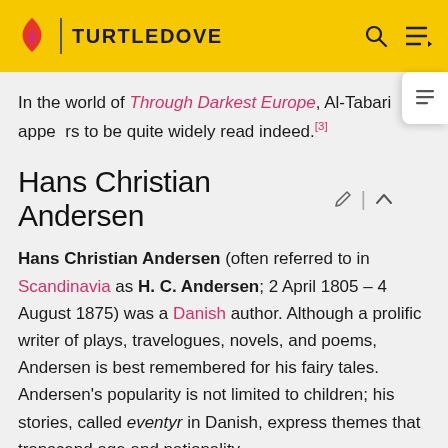TURTLEDOVE
In the world of Through Darkest Europe, Al-Tabari appears to be quite widely read indeed.[3]
Hans Christian Andersen
Hans Christian Andersen (often referred to in Scandinavia as H. C. Andersen; 2 April 1805 – 4 August 1875) was a Danish author. Although a prolific writer of plays, travelogues, novels, and poems, Andersen is best remembered for his fairy tales. Andersen's popularity is not limited to children; his stories, called eventyr in Danish, express themes that transcend age and nationality.